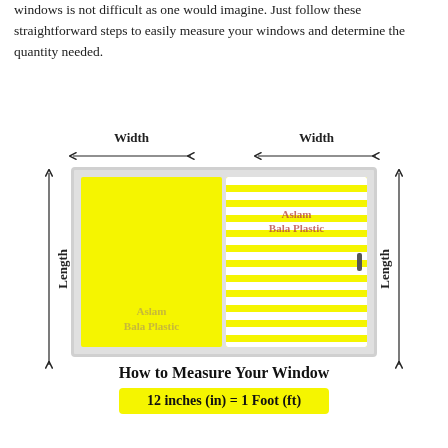windows is not difficult as one would imagine. Just follow these straightforward steps to easily measure your windows and determine the quantity needed.
[Figure (illustration): Diagram of a sliding window showing two panes. Left pane is solid yellow, right pane is yellow with white horizontal stripes (blind). Both panes labeled with 'Width' arrows at top, and 'Length' arrows on left and right sides. A small handle is visible on the right side of the right pane. Both panes have watermark text 'Aslam Bala Plastic'.]
How to Measure Your Window
12 inches (in) = 1 Foot (ft)